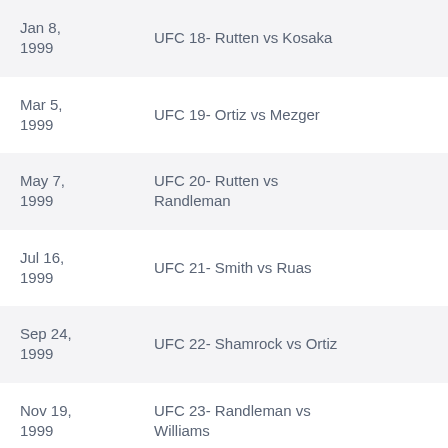| Jan 8, 1999 | UFC 18- Rutten vs Kosaka | 0 |
| Mar 5, 1999 | UFC 19- Ortiz vs Mezger | 0 |
| May 7, 1999 | UFC 20- Rutten vs Randleman | 5 |
| Jul 16, 1999 | UFC 21- Smith vs Ruas | -2 |
| Sep 24, 1999 | UFC 22- Shamrock vs Ortiz | 0 |
| Nov 19, 1999 | UFC 23- Randleman vs Williams | 5 |